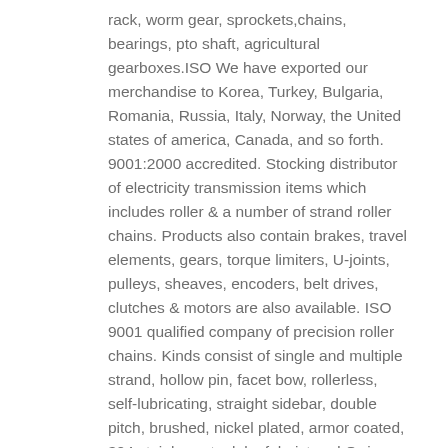rack, worm gear, sprockets,chains, bearings, pto shaft, agricultural gearboxes.ISO We have exported our merchandise to Korea, Turkey, Bulgaria, Romania, Russia, Italy, Norway, the United states of america, Canada, and so forth. 9001:2000 accredited. Stocking distributor of electricity transmission items which includes roller & a number of strand roller chains. Products also contain brakes, travel elements, gears, torque limiters, U-joints, pulleys, sheaves, encoders, belt drives, clutches & motors are also available. ISO 9001 qualified company of precision roller chains. Kinds consist of single and multiple strand, hollow pin, facet bow, rollerless, self-lubricating, straight sidebar, double pitch, brushed, nickel plated, armor coated, 304 stainless steel, leaf, hoist and O-ring, citrus, sorting and caterpillar roller chains. A.Our Solutions
1. Any of your variety inquiry lumber conveyor chain would be replied inside 24 hours.